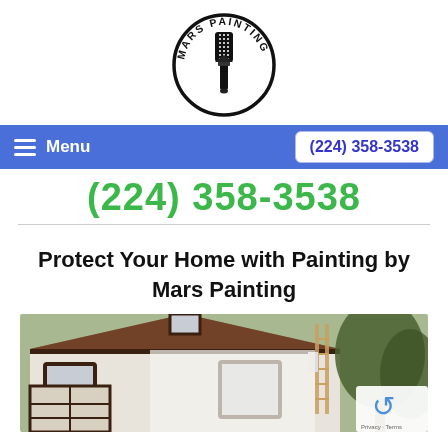[Figure (logo): Mars Painting logo: circular black border with a paint brush icon in the center and 'MARS PAINTING' text arced around the top]
Menu   (224) 358-3538
(224) 358-3538
Protect Your Home with Painting by Mars Painting
[Figure (photo): Photo of a Tudor-style house being painted, white with dark brown trim, a ladder visible against the exterior, trees in background]